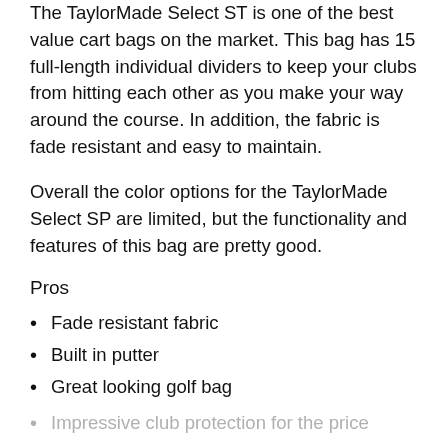The TaylorMade Select ST is one of the best value cart bags on the market. This bag has 15 full-length individual dividers to keep your clubs from hitting each other as you make your way around the course. In addition, the fabric is fade resistant and easy to maintain.
Overall the color options for the TaylorMade Select SP are limited, but the functionality and features of this bag are pretty good.
Pros
Fade resistant fabric
Built in putter
Great looking golf bag
Impressive club protection for the price